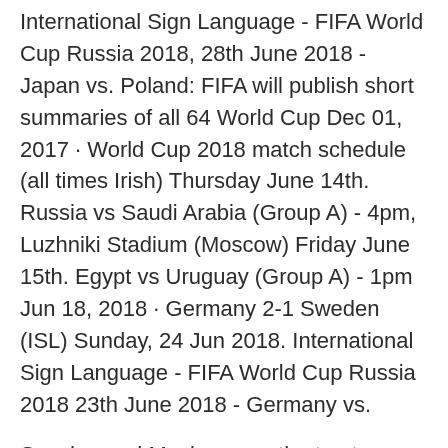International Sign Language - FIFA World Cup Russia 2018, 28th June 2018 - Japan vs. Poland: FIFA will publish short summaries of all 64 World Cup Dec 01, 2017 · World Cup 2018 match schedule (all times Irish) Thursday June 14th. Russia vs Saudi Arabia (Group A) - 4pm, Luzhniki Stadium (Moscow) Friday June 15th. Egypt vs Uruguay (Group A) - 1pm Jun 18, 2018 · Germany 2-1 Sweden (ISL) Sunday, 24 Jun 2018. International Sign Language - FIFA World Cup Russia 2018 23th June 2018 - Germany vs.
Sweden and Mexico were the top two teams that advanced to the round of 16. The incumbent World Cup champions, Germany, placed last, making it the first time since 1938 that Germany did not advance beyond the first round, and the first time ever, the group stage. The early German exit was "greeted with shock in